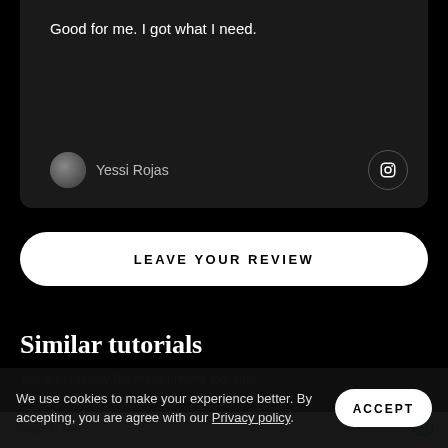Good for me. I got what I need.
Yessi Rojas
LEAVE YOUR REVIEW
Similar tutorials
You will probably like these presets too. Just check it out :)
Search for
We use cookies to make your experience better. By accepting, you are agree with our Privacy policy.
ACCEPT